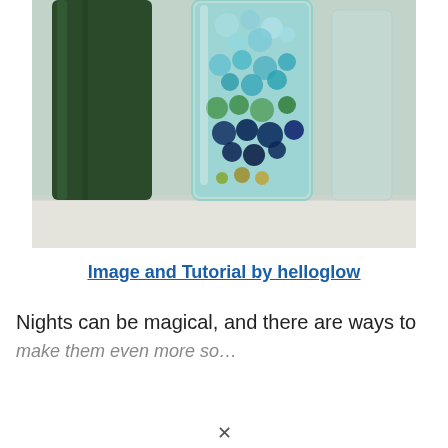[Figure (photo): Photo of glass bottles filled with colorful marbles and beads sitting on a white wooden surface. A dark green wine bottle is on the left, and a clear glass bottle filled with blue, green, and teal glass marbles/beads is in the center foreground.]
Image and Tutorial by helloglow
Nights can be magical, and there are ways to